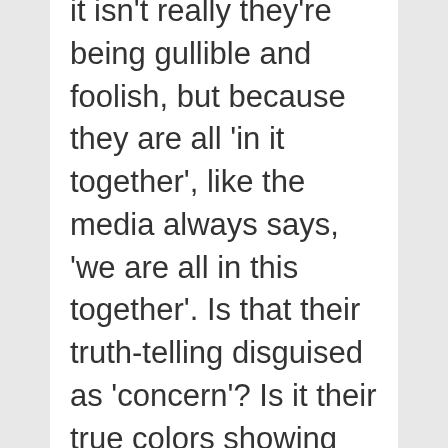it isn't really they're being gullible and foolish, but because they are all 'in it together', like the media always says, 'we are all in this together'. Is that their truth-telling disguised as 'concern'? Is it their true colors showing and they are actually telling the world what they are really doing, but they are disguising